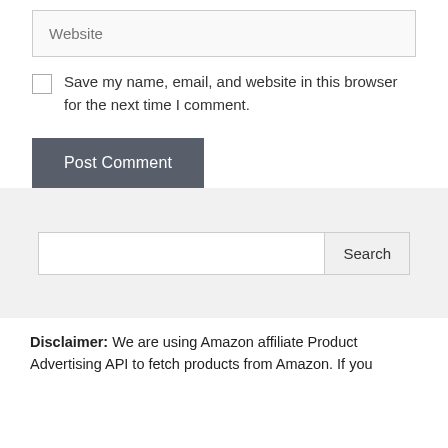Website
Save my name, email, and website in this browser for the next time I comment.
Post Comment
Search
Disclaimer: We are using Amazon affiliate Product Advertising API to fetch products from Amazon. If you